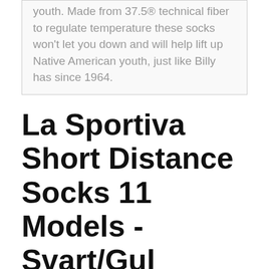youth. Made from 37.5® technical fiber to regulate temperature these socks won't let you down and will help lift up Native American youth, just like Billy has since 1964.
La Sportiva Short Distance Socks 11 Models - Svart/Gul
Boost your confidence with the new Camo Edges end tackle. Посмотреть сейчас. MINI MICRONS.
Pin på cykelaffaren.se
[Figure (other): Blue banner/bar at bottom of page]